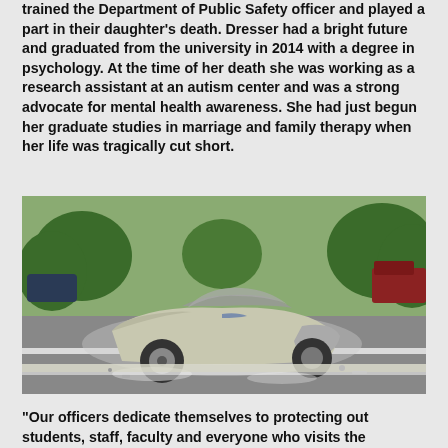trained the Department of Public Safety officer and played a part in their daughter's death. Dresser had a bright future and graduated from the university in 2014 with a degree in psychology. At the time of her death she was working as a research assistant at an autism center and was a strong advocate for mental health awareness. She had just begun her graduate studies in marriage and family therapy when her life was tragically cut short.
[Figure (photo): A severely wrecked silver car on a road, with the roof torn off and the body heavily damaged, photographed at a traffic stop with trees and other vehicles visible in the background.]
“Our officers dedicate themselves to protecting out students, staff, faculty and everyone who visits the University,” the statement said. “This is an unprecedented and heartbreaking event for our department. We offer our deepest condolences to Kelsey’s family, friends, classmates and faculty.”